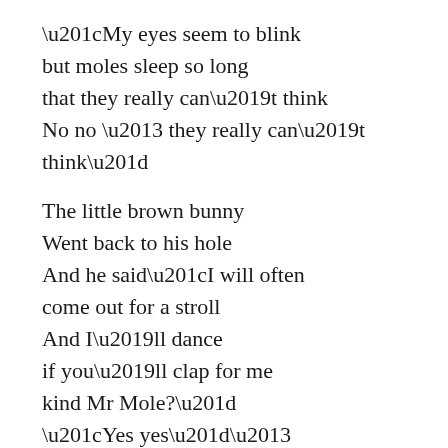“My eyes seem to blink
but moles sleep so long
that they really can’t think
No no – they really can’t think”

The little brown bunny
Went back to his hole
And he said“I will often
come out for a stroll
And I’ll dance
if you’ll clap for me
kind Mr Mole?”
“Yes yes”–
said the sleepy old mole
“I’ll clap and I,ll clap”
Said the sleepy old mole